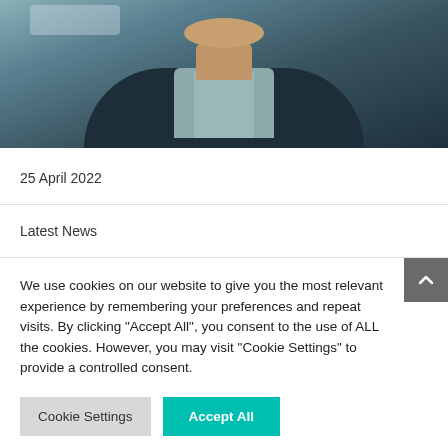[Figure (photo): Partial photo of a man wearing a dark sweater over a light blue collared shirt, showing neck and chest area against a blurred background]
25 April 2022
Latest News
We use cookies on our website to give you the most relevant experience by remembering your preferences and repeat visits. By clicking "Accept All", you consent to the use of ALL the cookies. However, you may visit "Cookie Settings" to provide a controlled consent.